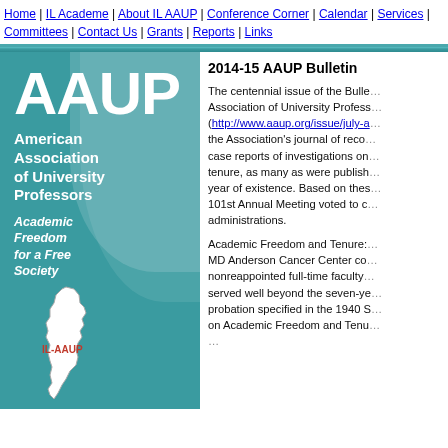Home | IL Academe | About IL AAUP | Conference Corner | Calendar | Services | Committees | Contact Us | Grants | Reports | Links
[Figure (logo): AAUP logo and Illinois AAUP sidebar with teal background, large white AAUP text, organization name, tagline, and Illinois state map outline with IL-AAUP label]
2014-15 AAUP Bulletin
The centennial issue of the Bulletin of the American Association of University Professors (http://www.aaup.org/issue/july-a...) the Association's journal of record, includes case reports of investigations on academic freedom and tenure, as many as were published in any prior year of existence. Based on these reports, the 101st Annual Meeting voted to censure eleven administrations.
Academic Freedom and Tenure: The University of MD Anderson Cancer Center concerns a number of nonreappointed full-time faculty members who had served well beyond the seven-year maximum probation specified in the 1940 Statement on Academic Freedom and Tenure...